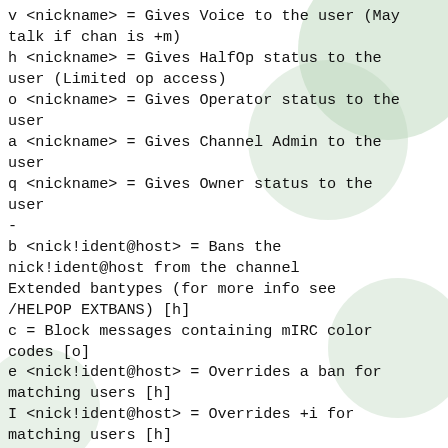v <nickname> = Gives Voice to the user (May talk if chan is +m)
h <nickname> = Gives HalfOp status to the user (Limited op access)
o <nickname> = Gives Operator status to the user
a <nickname> = Gives Channel Admin to the user
q <nickname> = Gives Owner status to the user
-
b <nick!ident@host> = Bans the nick!ident@host from the channel Extended bantypes (for more info see /HELPOP EXTBANS) [h]
c = Block messages containing mIRC color codes [o]
e <nick!ident@host> = Overrides a ban for matching users [h]
I <nick!ident@host> = Overrides +i for matching users [h]
f <floodparams> = Flood protection (for more info see /HELPOP CHMODEF) [o]
i = A user must be invited to join the channel [h]